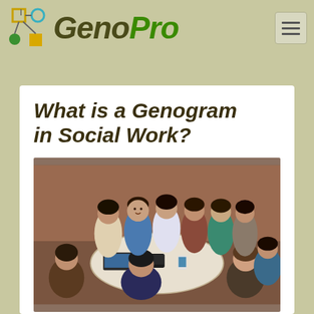GenoPro
What is a Genogram in Social Work?
[Figure (photo): Group of people, mostly youth, sitting in a circle around a round table in a discussion or meeting setting, with laptops on the table.]
Social work is a broad profession that